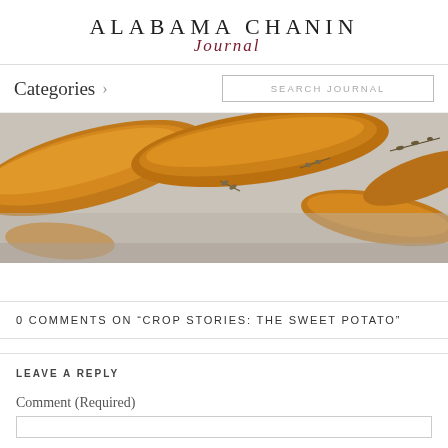ALABAMA CHANIN Journal
Categories >
SEARCH JOURNAL
[Figure (photo): Close-up photo of roasted sweet potato wedges with herbs on a light surface]
0 COMMENTS ON “CROP STORIES: THE SWEET POTATO”
LEAVE A REPLY
Comment (Required)